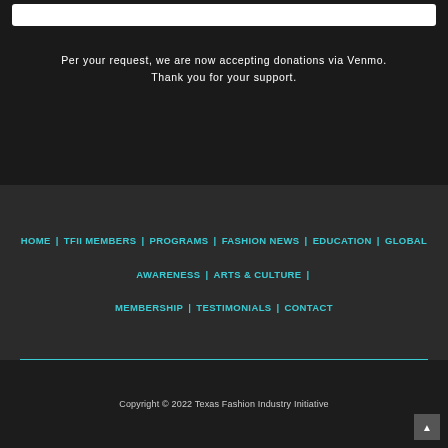Per your request, we are now accepting donations via Venmo. Thank you for your support.
HOME | TFII MEMBERS | PROGRAMS | FASHION NEWS | EDUCATION | GLOBAL AWARENESS | ARTS & CULTURE | MEMBERSHIP | TESTIMONIALS | CONTACT
Copyright © 2022 Texas Fashion Industry Initiative